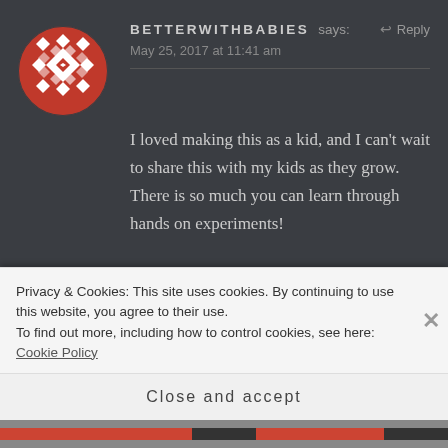[Figure (illustration): Circular avatar with a red and white geometric quilt-like pattern]
BETTERWITHBABIES says:
↩ Reply
May 25, 2017 at 11:41 am
I loved making this as a kid, and I can't wait to share this with my kids as they grow. There is so much you can learn through hands on experiments!
★ Like
Privacy & Cookies: This site uses cookies. By continuing to use this website, you agree to their use.
To find out more, including how to control cookies, see here: Cookie Policy
Close and accept